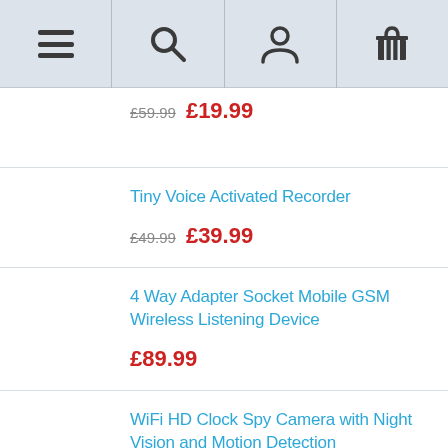[Figure (screenshot): Mobile website navigation bar with hamburger menu, search, account, and basket icons]
£59.99  £19.99
Tiny Voice Activated Recorder
£49.99  £39.99
4 Way Adapter Socket Mobile GSM Wireless Listening Device
£89.99
WiFi HD Clock Spy Camera with Night Vision and Motion Detection
£89.99